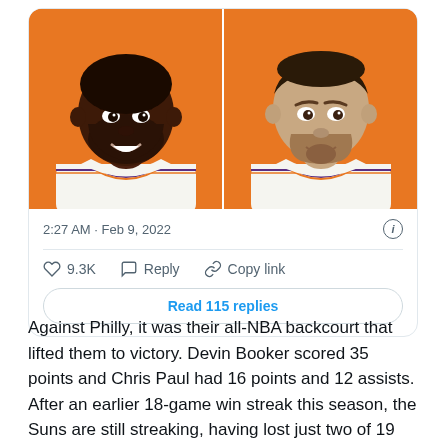[Figure (illustration): Tweet card showing two illustrated NBA players (Chris Paul and Devin Booker) in Phoenix Suns white jerseys on orange background, with tweet timestamp 2:27 AM · Feb 9, 2022, 9.3K likes, Reply, Copy link actions, and Read 115 replies button]
Against Philly, it was their all-NBA backcourt that lifted them to victory. Devin Booker scored 35 points and Chris Paul had 16 points and 12 assists. After an earlier 18-game win streak this season, the Suns are still streaking, having lost just two of 19 games since the new year.